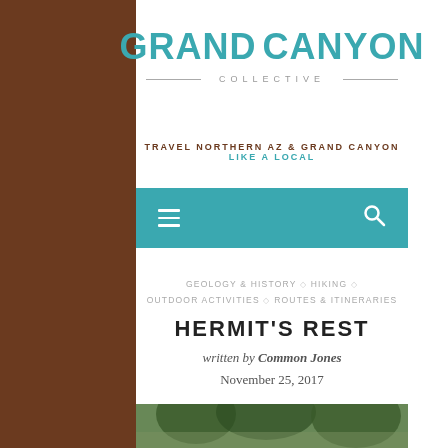[Figure (logo): Grand Canyon Collective logo with teal lettering and a square icon between the words GRAND and CANYON, with COLLECTIVE in spaced capitals below a horizontal rule]
TRAVEL NORTHERN AZ & GRAND CANYON LIKE A LOCAL
[Figure (screenshot): Teal navigation bar with hamburger menu icon on left and search icon on right]
GEOLOGY & HISTORY ◇ HIKING ◇ OUTDOOR ACTIVITIES ◇ ROUTES & ITINERARIES
HERMIT'S REST
written by Common Jones
November 25, 2017
[Figure (photo): Partial photo at bottom showing trees and landscape, cut off at page edge]